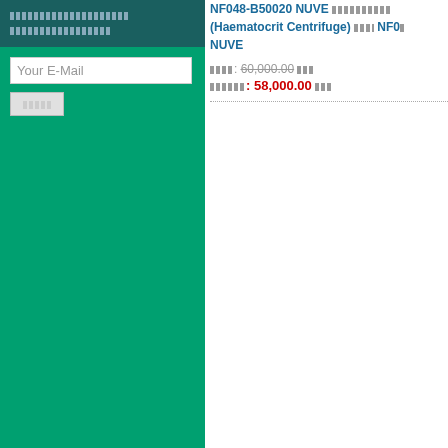ประกาศรับอีเมล (Thai header text - newsletter signup)
Your E-Mail
ส่ง (Submit button)
NF048-B50020 NUVE เครื่องปั่น (Haematocrit Centrifuge) รุ่น NF048 NUVE
ราคา: 60,000.00 บาท
ราคาพิเศษ: 58,000.00 บาท